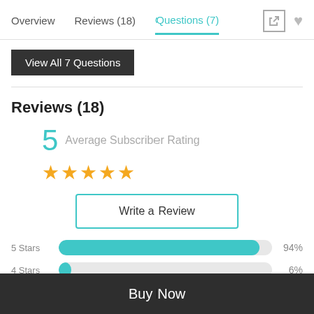Overview   Reviews (18)   Questions (7)
View All 7 Questions
Reviews (18)
5  Average Subscriber Rating
★★★★★
Write a Review
[Figure (bar-chart): Star ratings distribution]
Buy Now